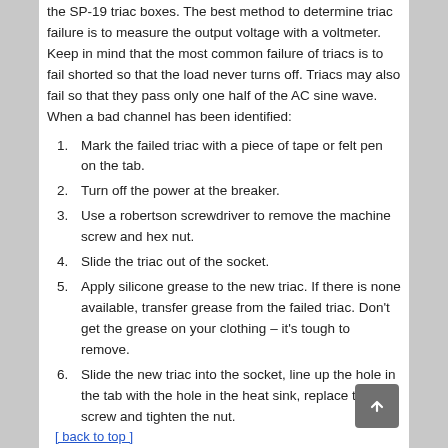the SP-19 triac boxes. The best method to determine triac failure is to measure the output voltage with a voltmeter. Keep in mind that the most common failure of triacs is to fail shorted so that the load never turns off. Triacs may also fail so that they pass only one half of the AC sine wave. When a bad channel has been identified:
1. Mark the failed triac with a piece of tape or felt pen on the tab.
2. Turn off the power at the breaker.
3. Use a robertson screwdriver to remove the machine screw and hex nut.
4. Slide the triac out of the socket.
5. Apply silicone grease to the new triac. If there is none available, transfer grease from the failed triac. Don't get the grease on your clothing – it's tough to remove.
6. Slide the new triac into the socket, line up the hole in the tab with the hole in the heat sink, replace the screw and tighten the nut.